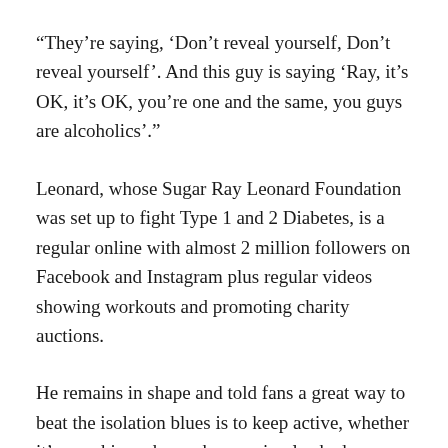“They’re saying, ‘Don’t reveal yourself, Don’t reveal yourself’. And this guy is saying ‘Ray, it’s OK, it’s OK, you’re one and the same, you guys are alcoholics’.”
Leonard, whose Sugar Ray Leonard Foundation was set up to fight Type 1 and 2 Diabetes, is a regular online with almost 2 million followers on Facebook and Instagram plus regular videos showing workouts and promoting charity auctions.
He remains in shape and told fans a great way to beat the isolation blues is to keep active, whether it’s punching a heavy bag or simply shadow boxing for a few rounds in your kitchen.